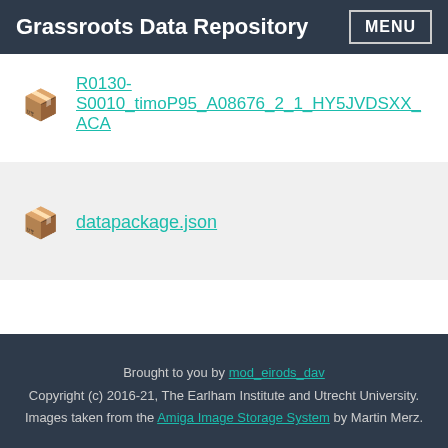Grassroots Data Repository
R0130-S0010_timoP95_A08676_2_1_HY5JVDSXX_ACA
datapackage.json
Brought to you by mod_eirods_dav Copyright (c) 2016-21, The Earlham Institute and Utrecht University. Images taken from the Amiga Image Storage System by Martin Merz.